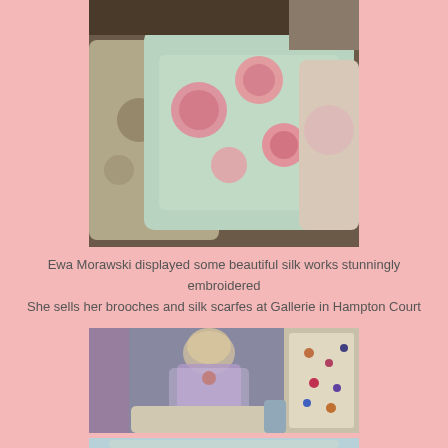[Figure (photo): Photo of decorative silk embroidered pillows with rose designs on a light mint/sage background, displayed with other floral pillows in a shop setting]
Ewa Morawski displayed some beautiful silk works stunningly embroidered
She sells her brooches and silk scarfes at Gallerie in Hampton Court
[Figure (photo): Photo of a mannequin with blonde hair wearing a purple/lavender sheer outfit and floral brooch, surrounded by embroidered pillows and a framed display of silk brooches in a shop]
[Figure (photo): Partial photo at bottom showing embroidered silk textile items, partially cropped]